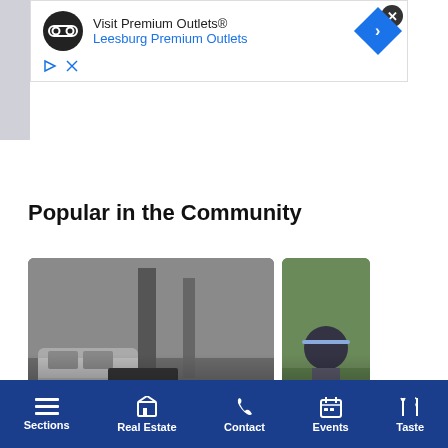[Figure (screenshot): Advertisement banner for Visit Premium Outlets / Leesburg Premium Outlets with logo, navigation arrow, and close button]
Popular in the Community
[Figure (photo): Black and white photo of a VW van near a Dan's Papers sign; article card titled 'Naming Dan's Papers, a Local Origin Story']
[Figure (photo): Partial color photo (second article card) showing '2022 An... Ends wi...']
Ty Stroudsburg · 11h
Lo...
[Figure (screenshot): Bottom navigation bar with icons: Sections, Real Estate, Contact, Events, Taste]